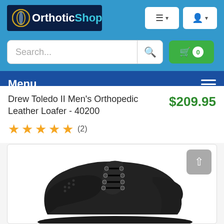[Figure (logo): OrthoticShop logo with gold circle icon, white 'Orthotic' and cyan 'Shop' text on dark navy background]
Drew Toledo II Men's Orthopedic Leather Loafer - 40200  $209.95
★★★★★ (2)
[Figure (photo): Black leather lace-up orthopedic dress shoe (Drew Toledo II) photographed on white background, showing the toe and side profile]